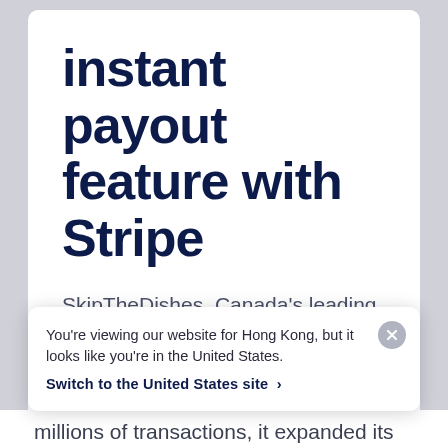instant payout feature with Stripe
SkipTheDishes, Canada's leading food-delivery network, helps over 40,000 restaurants bring food to millions of customers via independent delivery
You're viewing our website for Hong Kong, but it looks like you're in the United States.
Switch to the United States site >
millions of transactions, it expanded its